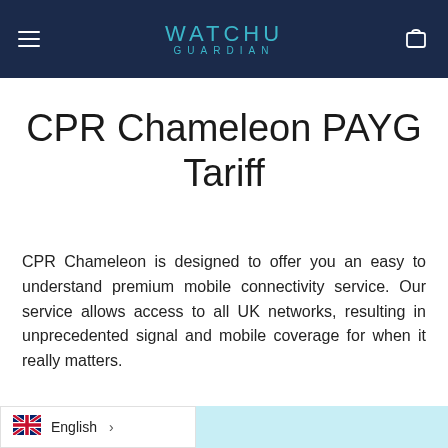WATCHU GUARDIAN
CPR Chameleon PAYG Tariff
CPR Chameleon is designed to offer you an easy to understand premium mobile connectivity service. Our service allows access to all UK networks, resulting in unprecedented signal and mobile coverage for when it really matters.
There is no minimum contract term
English